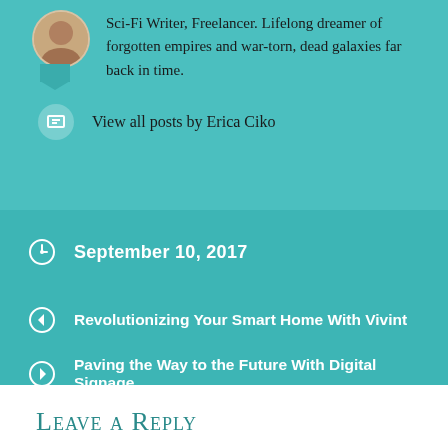Sci-Fi Writer, Freelancer. Lifelong dreamer of forgotten empires and war-torn, dead galaxies far back in time.
View all posts by Erica Ciko
September 10, 2017
Revolutionizing Your Smart Home With Vivint
Paving the Way to the Future With Digital Signage
Leave a Reply
Your email address will not be published. Required fields are marked